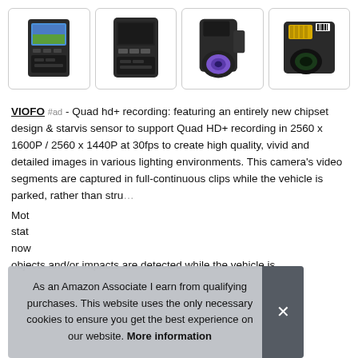[Figure (photo): Four product images of VIOFO dashcam: front view with screen, front view without screen on, side view showing lens, and top-down view showing ports and SD card slot.]
VIOFO #ad - Quad hd+ recording: featuring an entirely new chipset design & starvis sensor to support Quad HD+ recording in 2560 x 1600P / 2560 x 1440P at 30fps to create high quality, vivid and detailed images in various lighting environments. This camera's video segments are captured in full-continuous clips while the vehicle is parked, rather than stru...
Mot stat now objects and/or impacts are detected while the vehicle is
As an Amazon Associate I earn from qualifying purchases. This website uses the only necessary cookies to ensure you get the best experience on our website. More information